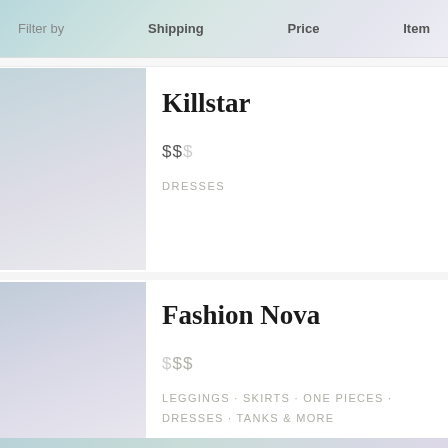Filter by   Shipping   Price   Item
Killstar
$$$
DRESSES
Fashion Nova
$$$
LEGGINGS · SKIRTS · ONE PIECES · DRESSES · TANKS & MORE